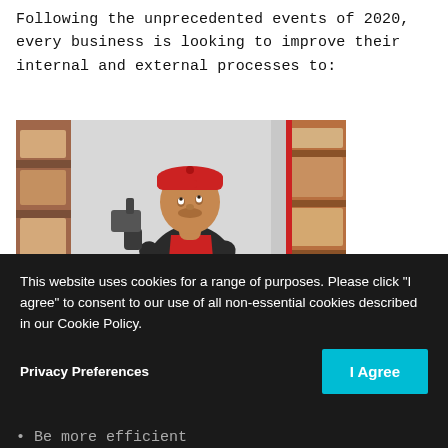Following the unprecedented events of 2020, every business is looking to improve their internal and external processes to:
[Figure (photo): A warehouse worker wearing a red cap and jacket, holding a barcode scanner and a tablet, scanning items on shelving racks.]
This website uses cookies for a range of purposes. Please click "I agree" to consent to our use of all non-essential cookies described in our Cookie Policy.
Privacy Preferences
Be more efficient